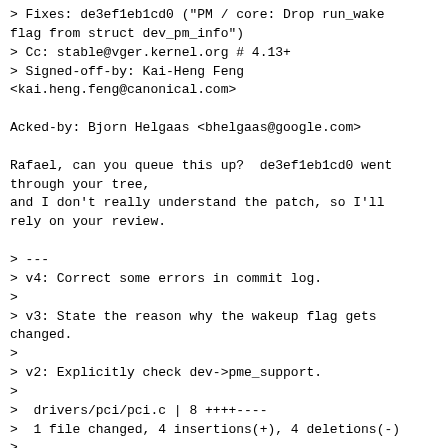> Fixes: de3ef1eb1cd0 ("PM / core: Drop run_wake
flag from struct dev_pm_info")
> Cc: stable@vger.kernel.org # 4.13+
> Signed-off-by: Kai-Heng Feng
<kai.heng.feng@canonical.com>

Acked-by: Bjorn Helgaas <bhelgaas@google.com>

Rafael, can you queue this up?  de3ef1eb1cd0 went
through your tree,
and I don't really understand the patch, so I'll
rely on your review.

> ---
> v4: Correct some errors in commit log.
>
> v3: State the reason why the wakeup flag gets
changed.
>
> v2: Explicitly check dev->pme_support.
>
>  drivers/pci/pci.c | 8 ++++----
>  1 file changed, 4 insertions(+), 4 deletions(-)
>
> diff --git a/drivers/pci/pci.c
b/drivers/pci/pci.c
> index a04197ce767d..c2616cad3a1d 100644
> --- a/drivers/pci/pci.c
> +++ b/drivers/pci/pci.c
> @@ -2138,16 +2138,16 @@ bool